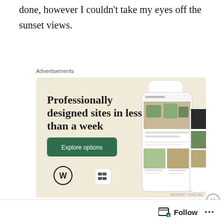done, however I couldn't take my eyes off the sunset views.
Advertisements
[Figure (illustration): WordPress advertisement banner with beige background showing 'Professionally designed sites in less than a week' headline, a green 'Explore options' button, WordPress logo, and mock website/phone screens on the right side.]
REPORT THIS AD
Advertisements
Follow
...